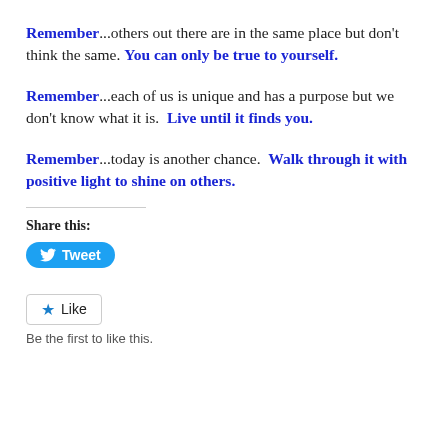Remember...others out there are in the same place but don't think the same. You can only be true to yourself.
Remember...each of us is unique and has a purpose but we don't know what it is. Live until it finds you.
Remember...today is another chance. Walk through it with positive light to shine on others.
Share this:
[Figure (other): Tweet button with Twitter bird icon]
[Figure (other): Like button with star icon, and text 'Be the first to like this.']